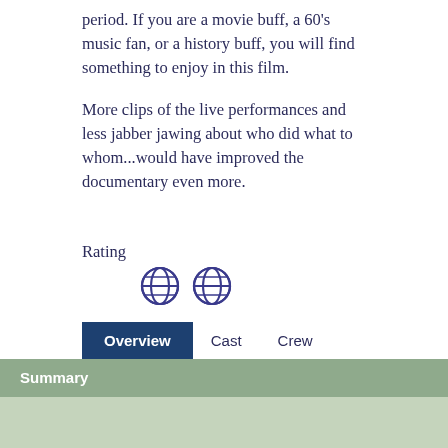period. If you are a movie buff, a 60's music fan, or a history buff, you will find something to enjoy in this film.
More clips of the live performances and less jabber jawing about who did what to whom...would have improved the documentary even more.
Rating
[Figure (illustration): Two globe icons used as a rating indicator (2 out of 5 globes)]
Overview
Summary
Echo in the Canyon (2019)